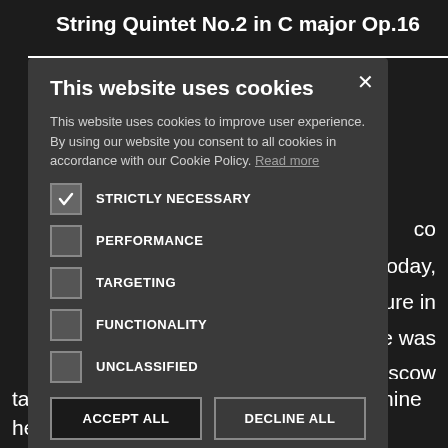String Quintet No.2 in C major Op.16
This website uses cookies
This website uses cookies to improve user experience. By using our website you consent to all cookies in accordance with our Cookie Policy. Read more
STRICTLY NECESSARY
PERFORMANCE
TARGETING
FUNCTIONALITY
UNCLASSIFIED
ACCEPT ALL
DECLINE ALL
SHOW DETAILS
take his place and by the age of twenty-nine he